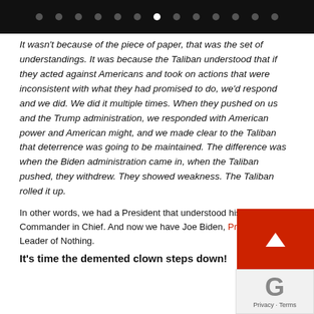navigation dots
It wasn't because of the piece of paper, that was the set of understandings. It was because the Taliban understood that if they acted against Americans and took on actions that were inconsistent with what they had promised to do, we'd respond and we did. We did it multiple times. When they pushed on us and the Trump administration, we responded with American power and American might, and we made clear to the Taliban that deterrence was going to be maintained. The difference was when the Biden administration came in, when the Taliban pushed, they withdrew. They showed weakness. The Taliban rolled it up.
In other words, we had a President that understood his role as Commander in Chief. And now we have Joe Biden, Pro China. Leader of Nothing.
It's time the demented clown steps down!